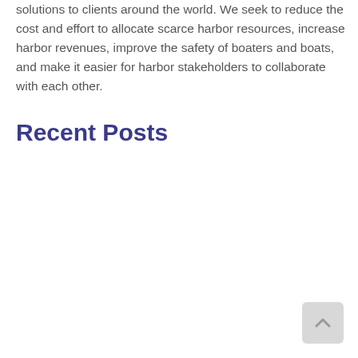solutions to clients around the world. We seek to reduce the cost and effort to allocate scarce harbor resources, increase harbor revenues, improve the safety of boaters and boats, and make it easier for harbor stakeholders to collaborate with each other.
Recent Posts